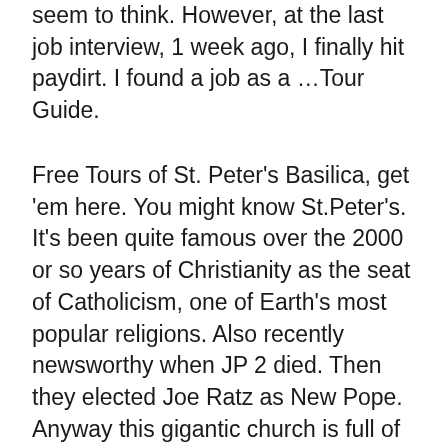seem to think. However, at the last job interview, 1 week ago, I finally hit paydirt. I found a job as a …Tour Guide.
Free Tours of St. Peter's Basilica, get 'em here. You might know St.Peter's. It's been quite famous over the 2000 or so years of Christianity as the seat of Catholicism, one of Earth's most popular religions. Also recently newsworthy when JP 2 died. Then they elected Joe Ratz as New Pope. Anyway this gigantic church is full of stunning art and monuments and history. After a flurry of studying I now know enough info about this place to choke a horse. I hope to choke busloads of tourists with my knowledge while dazzling them with big-time entertainment value: I'll be working solely for tips and commission.On one hand it can be a shitty job earning small change, on the other: it'sa possible cash cow for the milking. I'm hoping for the latter, but will settle for something in between, that won't at least put it in the realm of